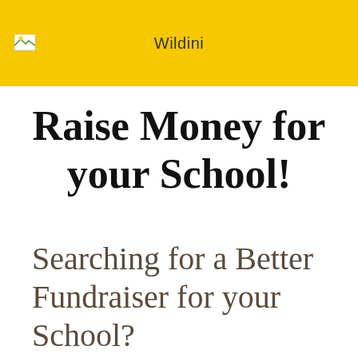Wildini
Raise Money for your School!
Searching for a Better Fundraiser for your School?